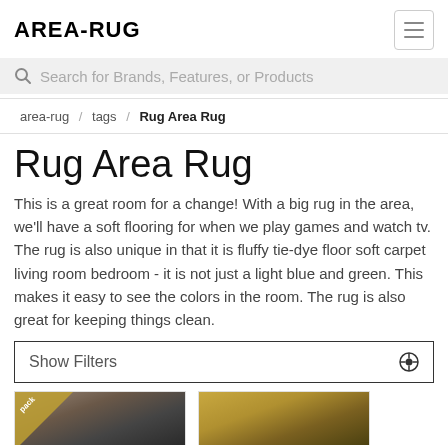AREA-RUG
Search for Brands, Features, or Products
area-rug / tags / Rug Area Rug
Rug Area Rug
This is a great room for a change! With a big rug in the area, we'll have a soft flooring for when we play games and watch tv. The rug is also unique in that it is fluffy tie-dye floor soft carpet living room bedroom - it is not just a light blue and green. This makes it easy to see the colors in the room. The rug is also great for keeping things clean.
Show Filters
[Figure (photo): Two area rug product thumbnails with badge overlays]